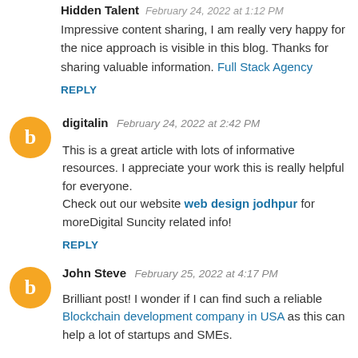Hidden Talent  February 24, 2022 at 1:12 PM
Impressive content sharing, I am really very happy for the nice approach is visible in this blog. Thanks for sharing valuable information. Full Stack Agency
REPLY
digitalin  February 24, 2022 at 2:42 PM
This is a great article with lots of informative resources. I appreciate your work this is really helpful for everyone.
Check out our website web design jodhpur for moreDigital Suncity related info!
REPLY
John Steve  February 25, 2022 at 4:17 PM
Brilliant post! I wonder if I can find such a reliable Blockchain development company in USA as this can help a lot of startups and SMEs.